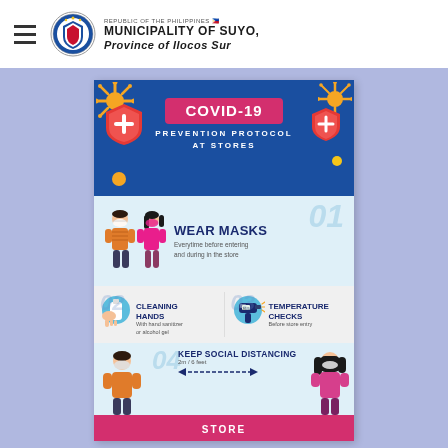REPUBLIC OF THE PHILIPPINES — MUNICIPALITY OF SUYO, PROVINCE OF ILOCOS SUR
[Figure (infographic): COVID-19 Prevention Protocol at Stores infographic showing 4 protocols: 01 Wear Masks - Everytime before entering and during in the store; 02 Cleaning Hands - With hand sanitizer or alcohol gel; 03 Temperature Checks - Before store entry; 04 Keep Social Distancing - 2m / 6 feet. Blue background with virus illustrations, cartoon characters wearing masks, icons for hand sanitizer and thermometer gun. Store label at bottom.]